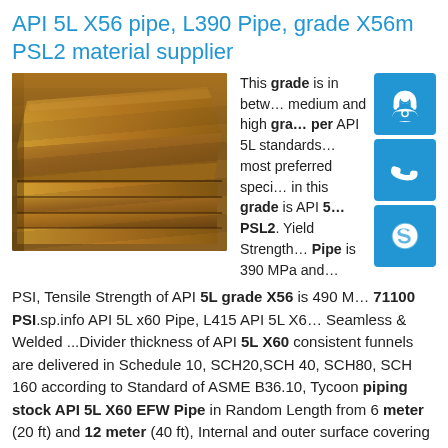API 5L X56 pipe, L390 Pipe, grade X56m PSL2 material supplier
[Figure (photo): Stack of steel plates/pipes with rusty brown metallic surface, photographed from the side showing multiple layers.]
This grade is in between medium and high grade per API 5L standards, most preferred specification in this grade is API 5L PSL2. Yield Strength of API 5L X56 Pipe is 390 MPa and PSI, Tensile Strength of API 5L grade X56 is 490 MPa and 71100 PSI.sp.info API 5L x60 Pipe, L415 API 5L X60 Seamless & Welded ...Divider thickness of API 5L X60 consistent funnels are delivered in Schedule 10, SCH20,SCH 40, SCH80, SCH 160 according to Standard of ASME B36.10, Tycoon piping stock API 5L X60 EFW Pipe in Random Length from 6 meter (20 ft) and 12 meter (40 ft), Internal and outer surface covering should be possible according to prerequisite of our clients like 3PE,